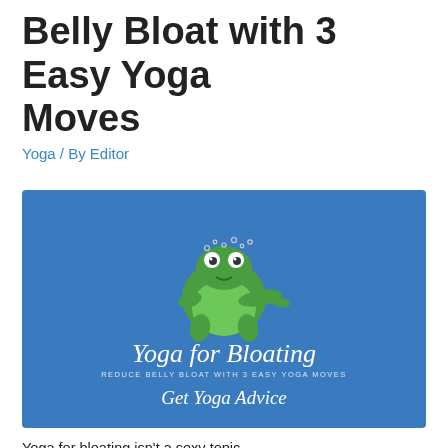Belly Bloat with 3 Easy Yoga Moves
Yoga / By Editor
[Figure (illustration): Blue banner image with a cartoon frog with a bloated green belly. Text on the image reads 'Yoga for Bloating', 'REDUCE BELLY BLOAT WITH 3 EASY YOGA MOVES', and 'Get Yoga Advice'.]
Yoga for bloating isn't a sexy topic.